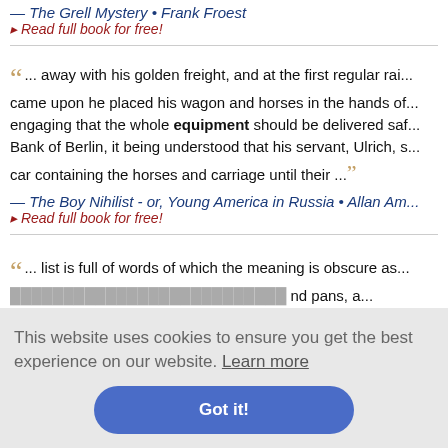— The Grell Mystery • Frank Froest
▸ Read full book for free!
"... away with his golden freight, and at the first regular railroad station he came upon he placed his wagon and horses in the hands of an agent, engaging that the whole equipment should be delivered safely to the Bank of Berlin, it being understood that his servant, Ulrich, should ride in the car containing the horses and carriage until their ..."
— The Boy Nihilist - or, Young America in Russia • Allan Am...
▸ Read full book for free!
"... list is full of words of which the meaning is obscure as ... and pans, a... interest to n...
... Letters • C...
This website uses cookies to ensure you get the best experience on our website. Learn more
Got it!
"... metal buttons, the sash of a representative tied round h...